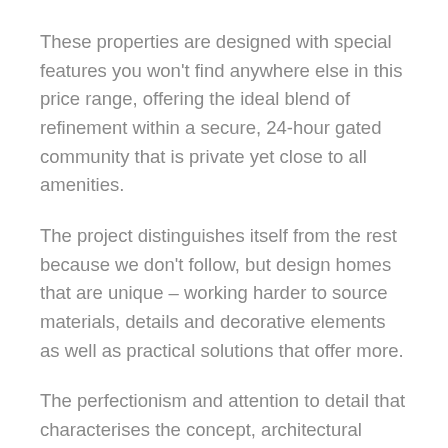These properties are designed with special features you won't find anywhere else in this price range, offering the ideal blend of refinement within a secure, 24-hour gated community that is private yet close to all amenities.
The project distinguishes itself from the rest because we don't follow, but design homes that are unique – working harder to source materials, details and decorative elements as well as practical solutions that offer more.
The perfectionism and attention to detail that characterises the concept, architectural design, landscaping and layout of Celeste Marbella is also evident in the interior styling of these beautiful contemporary homes.
The materials, details, features and also decorative elements chosen stand out because they come from the